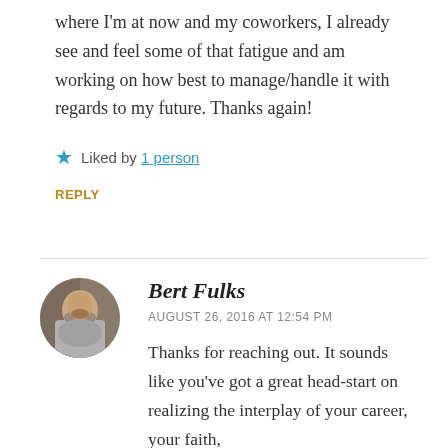where I'm at now and my coworkers, I already see and feel some of that fatigue and am working on how best to manage/handle it with regards to my future. Thanks again!
★ Liked by 1 person
REPLY
[Figure (photo): Circular avatar photo of Bert Fulks, a bearded man]
Bert Fulks
AUGUST 26, 2016 AT 12:54 PM
Thanks for reaching out. It sounds like you've got a great head-start on realizing the interplay of your career, your faith,